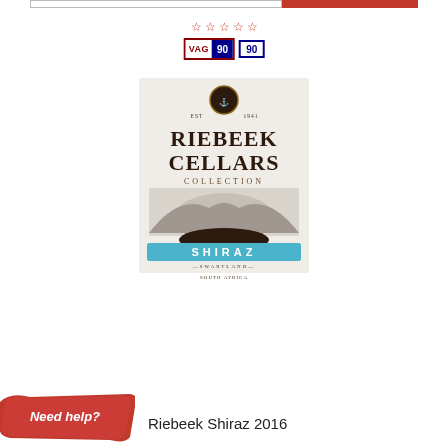[Figure (other): Top navigation bar with white left section and red right section]
[Figure (other): Five empty star rating icons in red outline]
[Figure (other): Two score badges: VAG 90 badge (red border, blue score box) and plain 90 badge (blue border)]
[Figure (photo): Riebeek Cellars Collection Shiraz wine bottle label showing EST 1941, sailing ship illustration, blue Shiraz banner, Swartland South Africa text]
[Figure (other): Red brushstroke banner with white text 'Need help?']
Riebeek Shiraz 2016